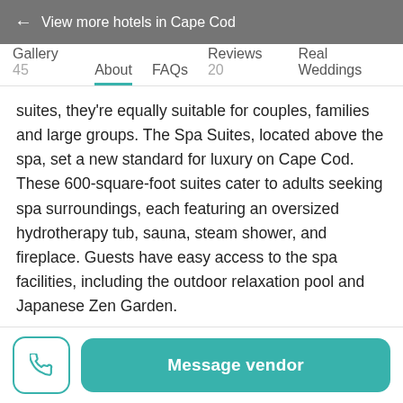← View more hotels in Cape Cod
Gallery 45   About   FAQs   Reviews 20   Real Weddings
suites, they're equally suitable for couples, families and large groups. The Spa Suites, located above the spa, set a new standard for luxury on Cape Cod. These 600-square-foot suites cater to adults seeking spa surroundings, each featuring an oversized hydrotherapy tub, sauna, steam shower, and fireplace. Guests have easy access to the spa facilities, including the outdoor relaxation pool and Japanese Zen Garden.
Frequently Asked Questions
Message vendor